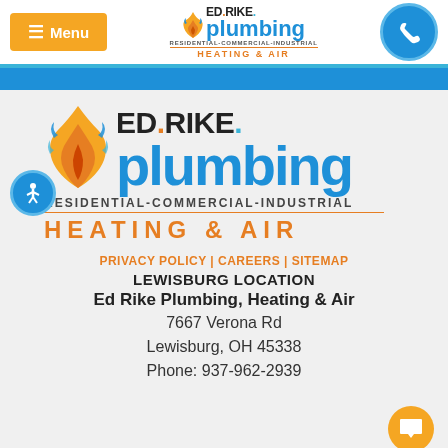Menu | Ed Rike Plumbing Residential-Commercial-Industrial Heating & Air
[Figure (logo): Ed Rike Plumbing Heating & Air large logo with flame icon, accessibility icon. Text: ED RIKE plumbing RESIDENTIAL-COMMERCIAL-INDUSTRIAL HEATING & AIR]
PRIVACY POLICY | CAREERS | SITEMAP
LEWISBURG LOCATION
Ed Rike Plumbing, Heating & Air
7667 Verona Rd
Lewisburg, OH 45338
Phone: 937-962-2939